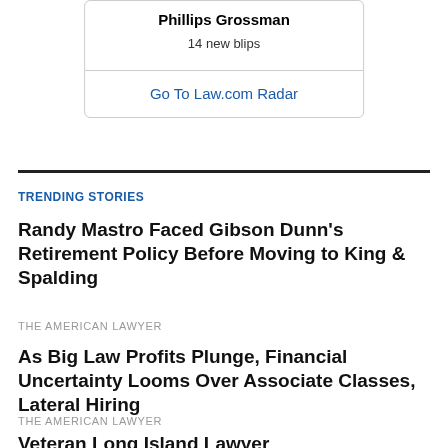Phillips Grossman
14 new blips
Go To Law.com Radar
TRENDING STORIES
Randy Mastro Faced Gibson Dunn's Retirement Policy Before Moving to King & Spalding
THE AMERICAN LAWYER
As Big Law Profits Plunge, Financial Uncertainty Looms Over Associate Classes, Lateral Hiring
THE AMERICAN LAWYER
Veteran Long Island Lawyer